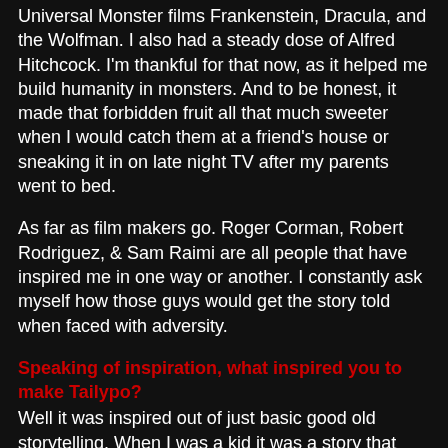Universal Monster films Frankenstein, Dracula, and the Wolfman. I also had a steady dose of Alfred Hitchcock. I'm thankful for that now, as it helped me build humanity in monsters. And to be honest, it made that forbidden fruit all that much sweeter when I would catch them at a friend's house or sneaking it in on late night TV after my parents went to bed.
As far as film makers go. Roger Corman, Robert Rodriguez, & Sam Raimi are all people that have inspired me in one way or another. I constantly ask myself how those guys would get the story told when faced with adversity.
Speaking of inspiration, what inspired you to make Tailypo?
Well it was inspired out of just basic good old storytelling. When I was a kid it was a story that was told around Halloween in our elementary school. Both Carolyn Hooks and Darlene McEnturf told it in the classroom. My mother and grandmother echoed them at some point, as did a babysitter I had named Lisa Munro (who had also went through the same school) The story just stuck with me. It